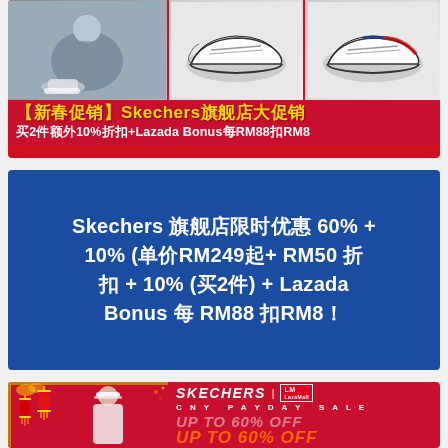[Figure (photo): CNY Skechers promotion banner with red background, showing a woman in athletic wear on the left, and two pairs of Skechers shoes (D'Lites style) in the center and right panels. Gold and white Chinese text reads 【新春促销】Skechers旗舰店大促销 and 买2件额外10%折扣+Lazada Bonus每RM88扣RM8]
Skechers 旗舰店限时优惠 60% + 10% (单价RM249起+ RM50 折扣 + 10% (买2件) + Lazada Bonus 每 RM88 扣RM8！
[Figure (photo): CNY Payday Sale red banner with woman model on left side wearing white outfit with visor, red Chinese lantern decorations. Right side shows SKECHERS | LazaMall logo, CNY PAYDAY SALE text, UP TO 60% OFF in large orange text repeated twice.]